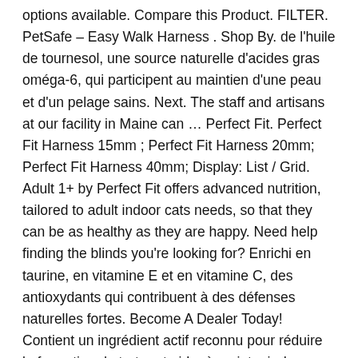options available. Compare this Product. FILTER. PetSafe – Easy Walk Harness . Shop By. de l'huile de tournesol, une source naturelle d'acides gras oméga-6, qui participent au maintien d'une peau et d'un pelage sains. Next. The staff and artisans at our facility in Maine can … Perfect Fit. Perfect Fit Harness 15mm ; Perfect Fit Harness 20mm; Perfect Fit Harness 40mm; Display: List / Grid. Adult 1+ by Perfect Fit offers advanced nutrition, tailored to adult indoor cats needs, so that they can be as healthy as they are happy. Need help finding the blinds you're looking for? Enrichi en taurine, en vitamine E et en vitamine C, des antioxydants qui contribuent à des défenses naturelles fortes. Become A Dealer Today! Contient un ingrédient actif reconnu pour réduire la formation du tartre et aider à maintenir des dents et des gencives saines. Whether you're looking for high-end labels or cheap, economy bulk purchases, we guarantee that it's here on AliExpress. Perfect Fit Blinds , rabbitgoo